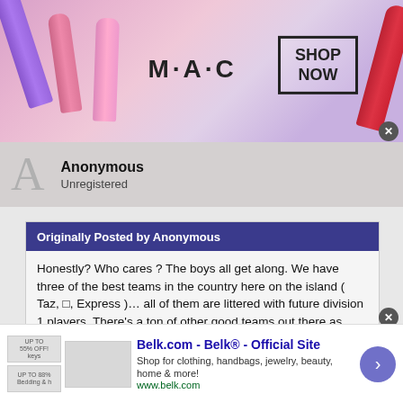[Figure (photo): MAC Cosmetics advertisement banner with colorful lipsticks and 'SHOP NOW' button]
Anonymous
Unregistered
Originally Posted by Anonymous

Honestly? Who cares ? The boys all get along. We have three of the best teams in the country here on the island ( Taz, ?, Express )… all of them are littered with future division 1 players. There's a ton of other good teams out there as well… Next Level, Crabs, Mad Dog West, True Ill Premier, Eclipse… these boys will be future teammates. Sit back, relax and enjoy the next year and a half… bc I'm not goes by quicker than you think and you'll miss all the time you got to spend with your sons.
[Figure (screenshot): Belk.com advertisement - Belk Official Site - Shop for clothing, handbags, jewelry, beauty, home & more!]